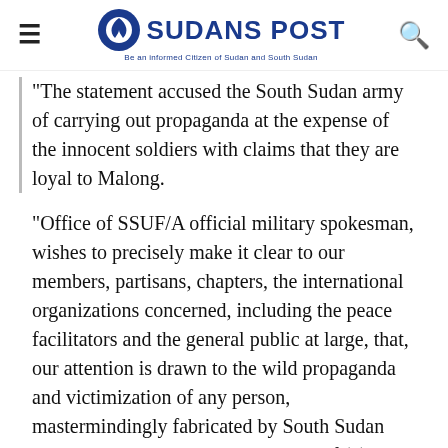SUDANS POST — Be an informed Citizen of Sudan and South Sudan
The statement accused the South Sudan army of carrying out propaganda at the expense of the innocent soldiers with claims that they are loyal to Malong.
“Office of SSUF/A official military spokesman, wishes to precisely make it clear to our members, partisans, chapters, the international organizations concerned, including the peace facilitators and the general public at large, that, our attention is drawn to the wild propaganda and victimization of any person, mastermindingly fabricated by South Sudan government that, the arrested group of (4) ex-combatants officers are active loyalist  to Gen. Paul Malong and caught fishing for informations in Juba,” he said.